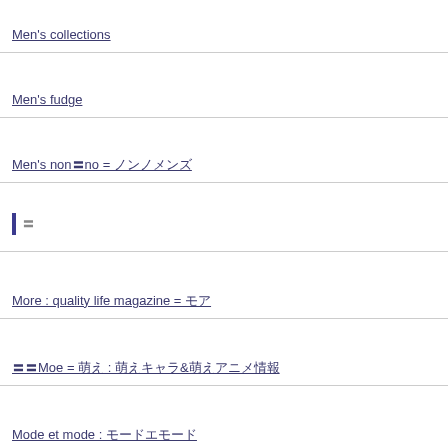Men's collections
Men's fudge
Men's non〓no = ノンノメンズ
〓
More : quality life magazine = モア
〓〓Moe = 萌え : 萌えキャラ&萌えアニメ情報
Mode et mode : モードエモード